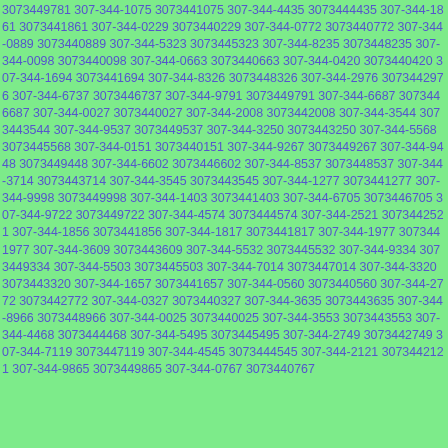3073449781 307-344-1075 3073441075 307-344-4435 3073444435 307-344-1861 3073441861 307-344-0229 3073440229 307-344-0772 3073440772 307-344-0889 3073440889 307-344-5323 3073445323 307-344-8235 3073448235 307-344-0098 3073440098 307-344-0663 3073440663 307-344-0420 3073440420 307-344-1694 3073441694 307-344-8326 3073448326 307-344-2976 3073442976 307-344-6737 3073446737 307-344-9791 3073449791 307-344-6687 3073446687 307-344-0027 3073440027 307-344-2008 3073442008 307-344-3544 3073443544 307-344-9537 3073449537 307-344-3250 3073443250 307-344-5568 3073445568 307-344-0151 3073440151 307-344-9267 3073449267 307-344-9448 3073449448 307-344-6602 3073446602 307-344-8537 3073448537 307-344-3714 3073443714 307-344-3545 3073443545 307-344-1277 3073441277 307-344-9998 3073449998 307-344-1403 3073441403 307-344-6705 3073446705 307-344-9722 3073449722 307-344-4574 3073444574 307-344-2521 3073442521 307-344-1856 3073441856 307-344-1817 3073441817 307-344-1977 3073441977 307-344-3609 3073443609 307-344-5532 3073445532 307-344-9334 3073449334 307-344-5503 3073445503 307-344-7014 3073447014 307-344-3320 3073443320 307-344-1657 3073441657 307-344-0560 3073440560 307-344-2772 3073442772 307-344-0327 3073440327 307-344-3635 3073443635 307-344-8966 3073448966 307-344-0025 3073440025 307-344-3553 3073443553 307-344-4468 3073444468 307-344-5495 3073445495 307-344-2749 3073442749 307-344-7119 3073447119 307-344-4545 3073444545 307-344-2121 3073442121 307-344-9865 3073449865 307-344-0767 3073440767